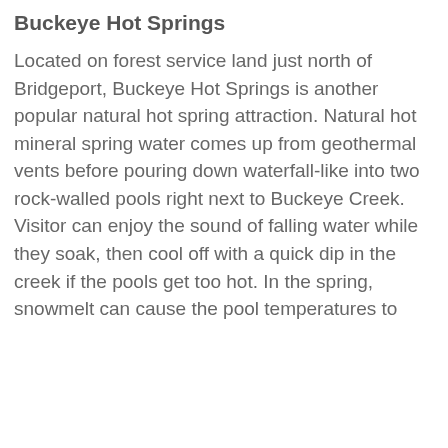Buckeye Hot Springs
Located on forest service land just north of Bridgeport, Buckeye Hot Springs is another popular natural hot spring attraction. Natural hot mineral spring water comes up from geothermal vents before pouring down waterfall-like into two rock-walled pools right next to Buckeye Creek. Visitor can enjoy the sound of falling water while they soak, then cool off with a quick dip in the creek if the pools get too hot. In the spring, snowmelt can cause the pool temperatures to